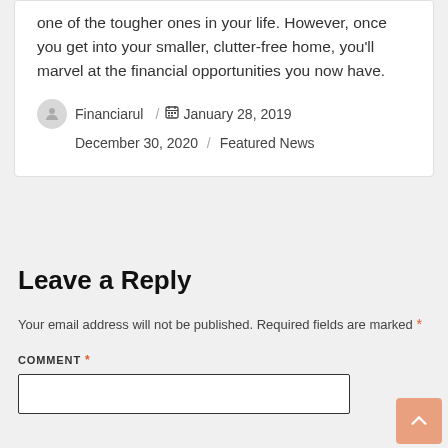one of the tougher ones in your life. However, once you get into your smaller, clutter-free home, you'll marvel at the financial opportunities you now have.
Financiarul / January 28, 2019December 30, 2020 / Featured News
Leave a Reply
Your email address will not be published. Required fields are marked *
COMMENT *